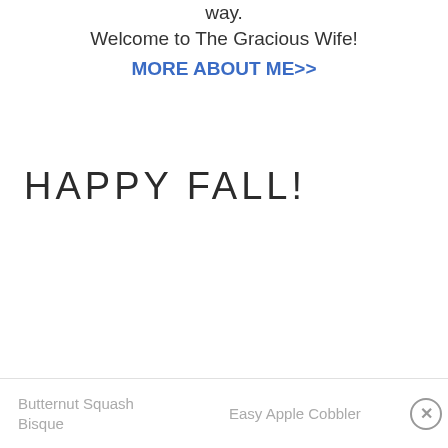way.
Welcome to The Gracious Wife!
MORE ABOUT ME>>
HAPPY FALL!
Butternut Squash Bisque    Easy Apple Cobbler  ×